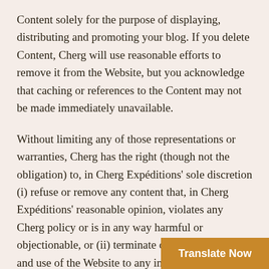Content solely for the purpose of displaying, distributing and promoting your blog. If you delete Content, Cherg will use reasonable efforts to remove it from the Website, but you acknowledge that caching or references to the Content may not be made immediately unavailable.
Without limiting any of those representations or warranties, Cherg has the right (though not the obligation) to, in Cherg Expéditions' sole discretion (i) refuse or remove any content that, in Cherg Expéditions' reasonable opinion, violates any Cherg policy or is in any way harmful or objectionable, or (ii) terminate or deny access to and use of the Website to any individual or entity for any reason, in Cherg Expéditions' sole